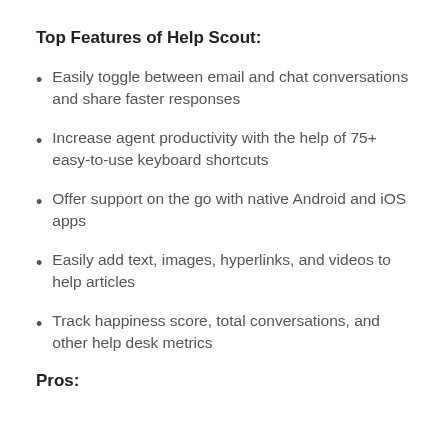Top Features of Help Scout:
Easily toggle between email and chat conversations and share faster responses
Increase agent productivity with the help of 75+ easy-to-use keyboard shortcuts
Offer support on the go with native Android and iOS apps
Easily add text, images, hyperlinks, and videos to help articles
Track happiness score, total conversations, and other help desk metrics
Pros: